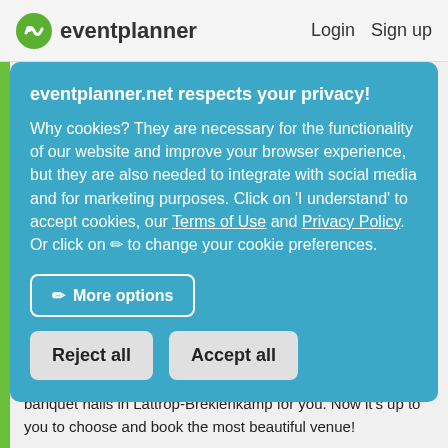eventplanner   Login   Sign up
eventplanner.net respects your privacy!
Why cookies? They are necessary for the functionality of our website and improve your browser experience, but they are also needed to integrate with social media and for marketing purposes. Click on 'I understand' to accept cookies, our Terms of Use and Privacy Policy. Or click on ✏ to change your cookie preferences.
✏ More options
Reject all   Accept all
banquet halls in Lattrop-Breklenkamp for you. Now it's up to you to choose and book the most beautiful venue!